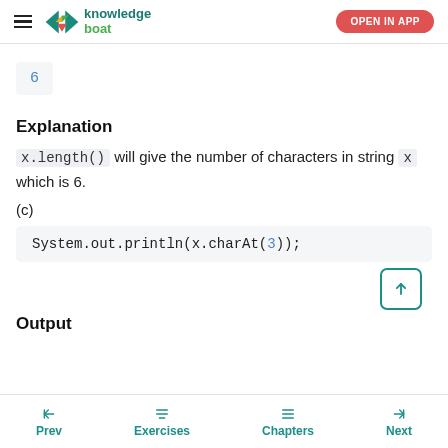knowledge boat — OPEN IN APP
6
Explanation
x.length() will give the number of characters in string x which is 6.
(c)
System.out.println(x.charAt(3));
Output
Prev   Exercises   Chapters   Next